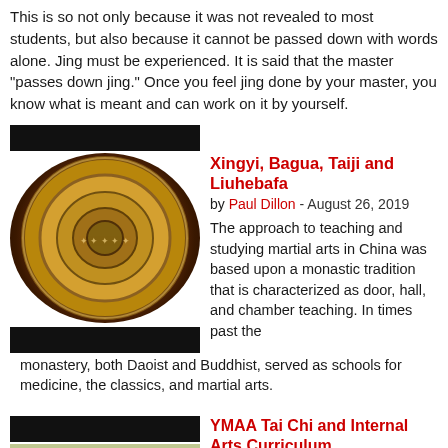This is so not only because it was not revealed to most students, but also because it cannot be passed down with words alone. Jing must be experienced. It is said that the master "passes down jing." Once you feel jing done by your master, you know what is meant and can work on it by yourself.
[Figure (photo): Black bar placeholder and circular mandala/thangka artwork image for article about Xingyi, Bagua, Taiji and Liuhebafa]
Xingyi, Bagua, Taiji and Liuhebafa
by Paul Dillon - August 26, 2019
The approach to teaching and studying martial arts in China was based upon a monastic tradition that is characterized as door, hall, and chamber teaching. In times past the monastery, both Daoist and Buddhist, served as schools for medicine, the classics, and martial arts.
[Figure (photo): Black bar placeholder and tai chi practitioners doing sword form outdoors for YMAA Tai Chi and Internal Arts Curriculum article]
YMAA Tai Chi and Internal Arts Curriculum
by Dr. Yang, Jwing-Ming - April 22, 2019
At YMAA, students learn qigong (energy cultivation) as part of their taiji or kung fu classes. In ancient times, Shaolin monks trained the cultivation of qi (energy), and realized muscular